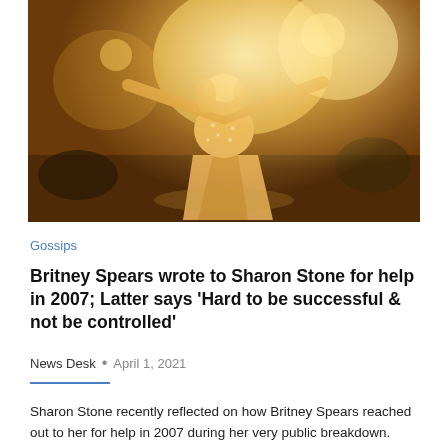[Figure (photo): Britney Spears performing on stage in a sparkling gold/silver costume, arms spread wide, bright stage lights behind her, dancers visible in background.]
Gossips
Britney Spears wrote to Sharon Stone for help in 2007; Latter says ‘Hard to be successful & not be controlled’
News Desk  •  April 1, 2021
Sharon Stone recently reflected on how Britney Spears reached out to her for help in 2007 during her very public breakdown.